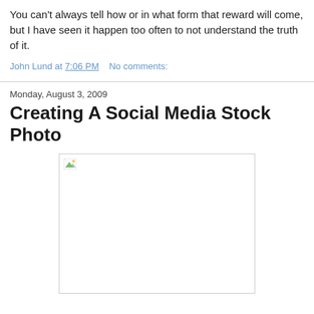You can't always tell how or in what form that reward will come, but I have seen it happen too often to not understand the truth of it.
John Lund at 7:06 PM    No comments:
Monday, August 3, 2009
Creating A Social Media Stock Photo
[Figure (photo): A broken/missing image placeholder box with a small broken image icon in the top-left corner, representing a blog post image that failed to load.]